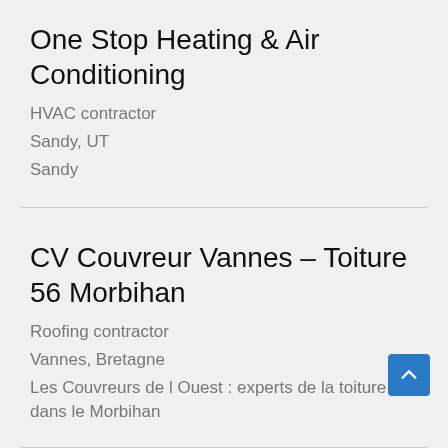One Stop Heating & Air Conditioning
HVAC contractor
Sandy, UT
Sandy
CV Couvreur Vannes – Toiture 56 Morbihan
Roofing contractor
Vannes, Bretagne
Les Couvreurs de l Ouest : experts de la toiture dans le Morbihan